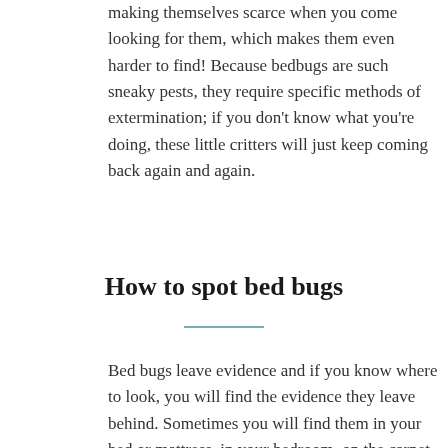making themselves scarce when you come looking for them, which makes them even harder to find! Because bedbugs are such sneaky pests, they require specific methods of extermination; if you don't know what you're doing, these little critters will just keep coming back again and again.
How to spot bed bugs
Bed bugs leave evidence and if you know where to look, you will find the evidence they leave behind. Sometimes you will find them in your bed or mattress, in your bedroom, on the carpet, in the small crevices in the walls,